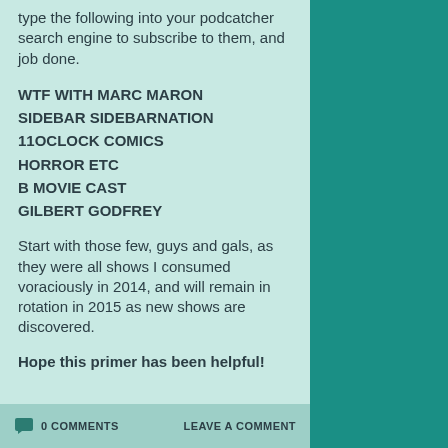type the following into your podcatcher search engine to subscribe to them, and job done.
WTF WITH MARC MARON
SIDEBAR SIDEBARNATION
11OCLOCK COMICS
HORROR ETC
B MOVIE CAST
GILBERT GODFREY
Start with those few, guys and gals, as they were all shows I consumed voraciously in 2014, and will remain in rotation in 2015 as new shows are discovered.
Hope this primer has been helpful!
0 COMMENTS   LEAVE A COMMENT